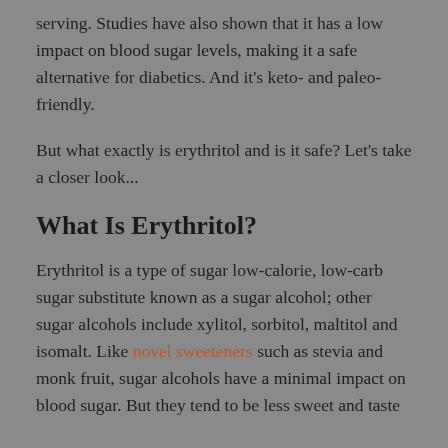serving. Studies have also shown that it has a low impact on blood sugar levels, making it a safe alternative for diabetics. And it's keto- and paleo-friendly.
But what exactly is erythritol and is it safe? Let's take a closer look...
What Is Erythritol?
Erythritol is a type of sugar low-calorie, low-carb sugar substitute known as a sugar alcohol; other sugar alcohols include xylitol, sorbitol, maltitol and isomalt. Like novel sweeteners such as stevia and monk fruit, sugar alcohols have a minimal impact on blood sugar. But they tend to be less sweet and taste